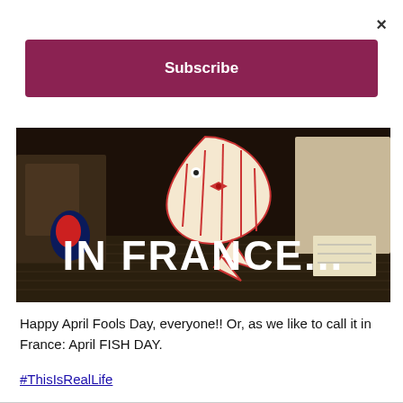×
Subscribe
[Figure (screenshot): Dark scene with two people visible from the waist down, a decorative fish figure in the center, and bold white text reading 'IN FRANCE...' overlaid on the image.]
Happy April Fools Day, everyone!! Or, as we like to call it in France: April FISH DAY.
#ThisIsRealLife